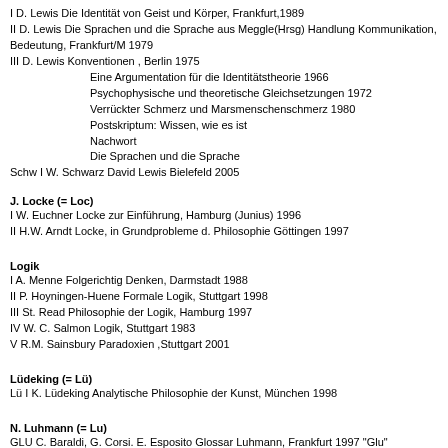I  D. Lewis Die Identität von Geist und Körper, Frankfurt,1989
II  D. Lewis Die Sprachen und die Sprache aus Meggle(Hrsg) Handlung Kommunikation, Bedeutung, Frankfurt/M 1979
III  D. Lewis Konventionen , Berlin 1975
Eine Argumentation für die Identitätstheorie  1966
Psychophysische und theoretische Gleichsetzungen  1972
Verrückter Schmerz und Marsmenschenschmerz  1980
Postskriptum: Wissen, wie es ist
Nachwort
Die Sprachen und die Sprache
Schw I  W.  Schwarz David Lewis   Bielefeld 2005
J. Locke (= Loc)
I W. Euchner Locke zur Einführung, Hamburg (Junius)  1996
II H.W. Arndt Locke, in Grundprobleme d. Philosophie    Göttingen 1997
Logik
I   A.  Menne  Folgerichtig Denken, Darmstadt 1988
II   P. Hoyningen-Huene Formale Logik, Stuttgart 1998
III  St. Read  Philosophie der Logik, Hamburg 1997
IV  W. C. Salmon Logik, Stuttgart 1983
V  R.M. Sainsbury  Paradoxien ,Stuttgart 2001
Lüdeking (= Lü)
Lü I K. Lüdeking Analytische Philosophie der Kunst, München 1998
N. Luhmann (= Lu)
GLU  C. Baraldi, G. Corsi. E. Esposito Glossar Luhmann, Frankfurt 1997  "Glu"
II W. Reese-Schäfer Luhmann zur Einführung Junius
AU   Autobahnuniversität Luhmann: Vorlesungen Einführung in die Systemtheorie Bielefeld 1991/92  ISBN 3-927809-29-2
J. Lyons (= Ly)
Ly  J. Lyons Einführung in die Linguistik Cambridge 1968, München 1995